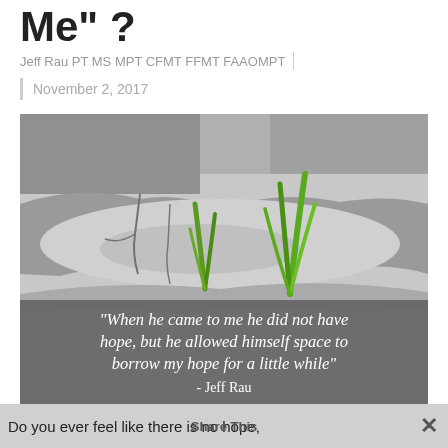Me" ?
Jeff Rau PT MS MPT CFMT FFMT FAAOMPT
November 2, 2017
[Figure (photo): Black and white photo of cracked ground with green grass sprouts growing through cracks, overlaid with a semi-transparent grey box containing a quote: "When he came to me he did not have hope, but he allowed himself space to borrow my hope for a little while" - Jeff Rau]
Do you ever feel like there is no hope,
Share This